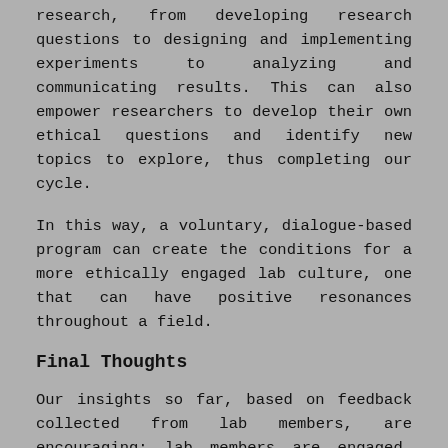research, from developing research questions to designing and implementing experiments to analyzing and communicating results. This can also empower researchers to develop their own ethical questions and identify new topics to explore, thus completing our cycle.
In this way, a voluntary, dialogue-based program can create the conditions for a more ethically engaged lab culture, one that can have positive resonances throughout a field.
Final Thoughts
Our insights so far, based on feedback collected from lab members, are encouraging: lab members are engaged, they enjoy the conversations, and they sustain an interest in participating. In some cases